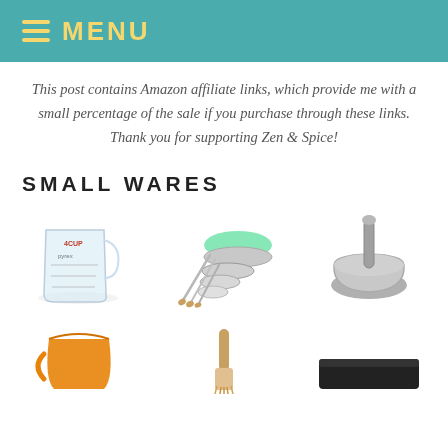MENU
This post contains Amazon affiliate links, which provide me with a small percentage of the sale if you purchase through these links. Thank you for supporting Zen & Spice!
SMALL WARES
[Figure (photo): Pyrex glass measuring cup]
[Figure (photo): Measuring spoons and stainless steel measuring cups with green herbs]
[Figure (photo): Grey mortar and pestle]
[Figure (photo): Orange collapsible silicone measuring cup]
[Figure (photo): Wooden pastry brush]
[Figure (photo): Black bench scraper]